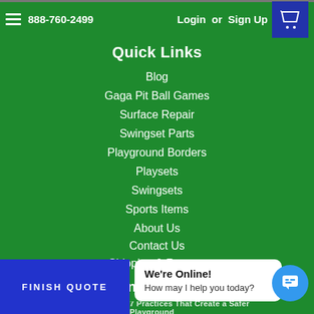888-760-2499  Login or Sign Up
Quick Links
Blog
Gaga Pit Ball Games
Surface Repair
Swingset Parts
Playground Borders
Playsets
Swingsets
Sports Items
About Us
Contact Us
Shipping & Returns
Recent Blog Posts
FINISH QUOTE
We're Online! How may I help you today?